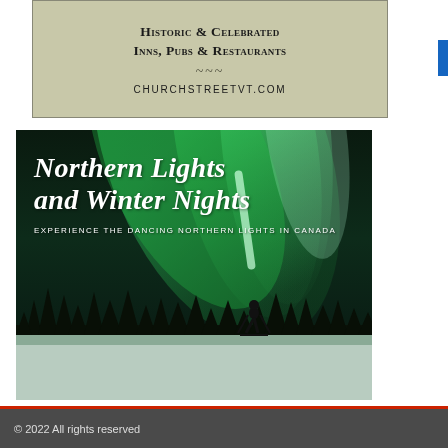[Figure (illustration): Advertisement for Church Street VT — Historic & Celebrated Inns, Pubs & Restaurants with decorative divider and URL churchstreetvt.com on a sage/khaki background with border]
[Figure (photo): Advertisement showing Northern Lights (aurora borealis) over a snowy landscape with a silhouetted person on skis. Text overlay reads 'Northern Lights and Winter Nights' in italic white serif font, and subtitle 'EXPERIENCE THE DANCING NORTHERN LIGHTS IN CANADA' in small white caps.]
© 2022 All rights reserved